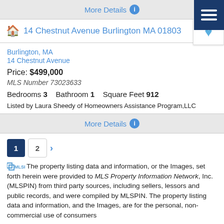More Details
14 Chestnut Avenue Burlington MA 01803
Burlington, MA
14 Chestnut Avenue
Price: $499,000
MLS Number 73023633
Bedrooms 3   Bathroom 1   Square Feet 912
Listed by Laura Sheedy of Homeowners Assistance Program,LLC
More Details
1 2 >
The property listing data and information, or the Images, set forth herein were provided to MLS Property Information Network, Inc. (MLSPIN) from third party sources, including sellers, lessors and public records, and were compiled by MLSPIN. The property listing data and information, and the Images, are for the personal, non-commercial use of consumers